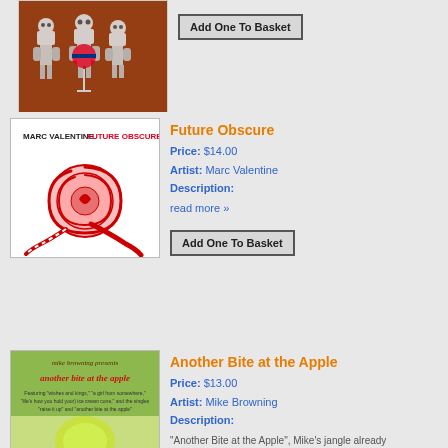[Figure (illustration): Album cover with cartoon robots playing music on an orange/red background]
Add One To Basket
[Figure (illustration): Marc Valentine Future Obscure album cover - white background with red candy/lollipop swirl design and text 'MARC VALENTINE FUTURE OBSCURE']
Future Obscure
Price: $14.00
Artist: Marc Valentine
Description:
read more »
Add One To Basket
[Figure (illustration): Another Bite at the Apple album cover - green background with red/maroon handwritten text 'mike browning presents another bite at the apple']
Another Bite at the Apple
Price: $13.00
Artist: Mike Browning
Description:
"Another Bite at the Apple", Mike's jangle already garnering some great reviews! M